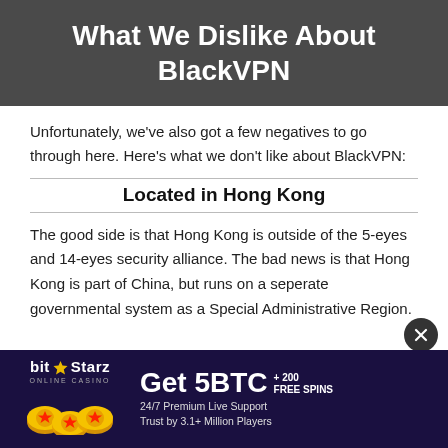What We Dislike About BlackVPN
Unfortunately, we've also got a few negatives to go through here. Here's what we don't like about BlackVPN:
Located in Hong Kong
The good side is that Hong Kong is outside of the 5-eyes and 14-eyes security alliance. The bad news is that Hong Kong is part of China, but runs on a seperate governmental system as a Special Administrative Region.
[Figure (infographic): BitStarz Online Casino advertisement banner: 'Get 5BTC + 200 FREE SPINS, 24/7 Premium Live Support, Trust by 3.1+ Million Players']